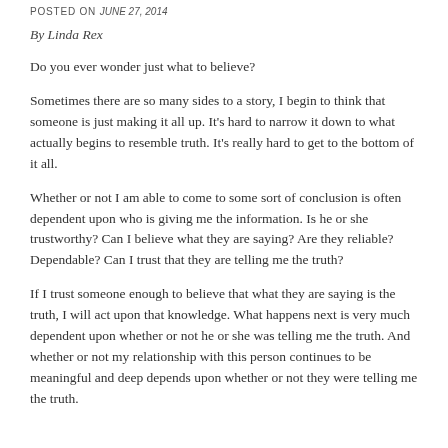POSTED ON JUNE 27, 2014
By Linda Rex
Do you ever wonder just what to believe?
Sometimes there are so many sides to a story, I begin to think that someone is just making it all up. It's hard to narrow it down to what actually begins to resemble truth. It's really hard to get to the bottom of it all.
Whether or not I am able to come to some sort of conclusion is often dependent upon who is giving me the information. Is he or she trustworthy? Can I believe what they are saying? Are they reliable? Dependable? Can I trust that they are telling me the truth?
If I trust someone enough to believe that what they are saying is the truth, I will act upon that knowledge. What happens next is very much dependent upon whether or not he or she was telling me the truth. And whether or not my relationship with this person continues to be meaningful and deep depends upon whether or not they were telling me the truth.